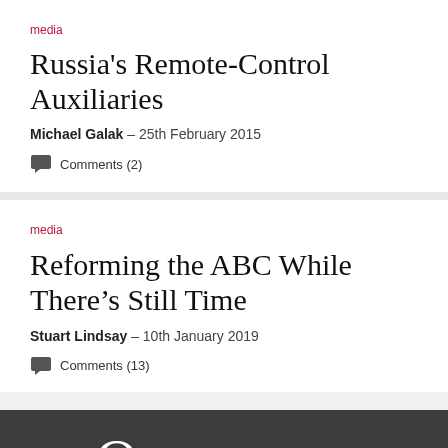media
Russia's Remote-Control Auxiliaries
Michael Galak  –  25th February 2015
Comments (2)
media
Reforming the ABC While There's Still Time
Stuart Lindsay  –  10th January 2019
Comments (13)
[Figure (logo): Quadrant magazine logo in white text on dark gray background]